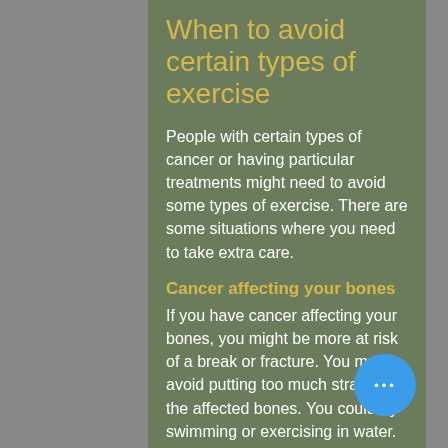When to avoid certain types of exercise
People with certain types of cancer or having particular treatments might need to avoid some types of exercise. There are some situations where you need to take extra care.
Cancer affecting your bones
If you have cancer affecting your bones, you might be more at risk of a break or fracture. You must avoid putting too much strain on the affected bones. You could try swimming or exercising in water. The water supports your body weight, so the skeleton isn't stressed. Exer... such as yoga generally appears s... for everyone